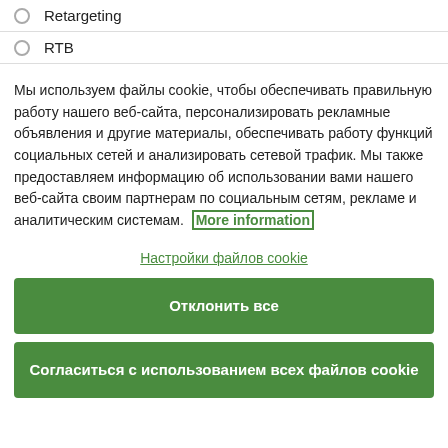Retargeting
RTB
Мы используем файлы cookie, чтобы обеспечивать правильную работу нашего веб-сайта, персонализировать рекламные объявления и другие материалы, обеспечивать работу функций социальных сетей и анализировать сетевой трафик. Мы также предоставляем информацию об использовании вами нашего веб-сайта своим партнерам по социальным сетям, рекламе и аналитическим системам. More information
Настройки файлов cookie
Отклонить все
Согласиться с использованием всех файлов cookie